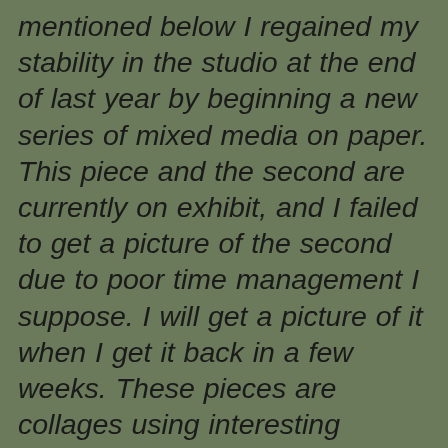mentioned below I regained my stability in the studio at the end of last year by beginning a new series of mixed media on paper. This piece and the second are currently on exhibit, and I failed to get a picture of the second due to poor time management I suppose. I will get a picture of it when I get it back in a few weeks. These pieces are collages using interesting papers that I made without any specific intentions in mind. They are still lifes, and in the tradition of still life each object juxtaposed within the composition have a symbolic meaning. A student the previous semester posted messages throughout the school that they no longer wanted to see art that had leaves, flowers, personal meanings, etc. in them which caused a wonderful flurry of